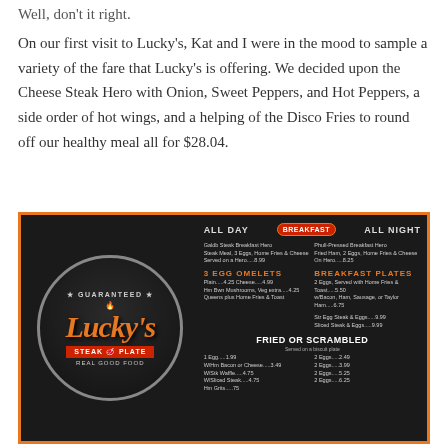Well, don't it right.
On our first visit to Lucky's, Kat and I were in the mood to sample a variety of the fare that Lucky's is offering. We decided upon the Cheese Steak Hero with Onion, Sweet Peppers, and Hot Peppers, a side order of hot wings, and a helping of the Disco Fries to round off our healthy meal all for $28.04.
[Figure (photo): Photo of Lucky's Steak Plate menu board on a dark wall, showing the Lucky's logo with 'Guaranteed', 'Steak Plate', 'Real Good Food' branding, and menu sections for All Day Breakfast All Night including items like 3 Egg Omelets, Fried or Scrambled eggs, and various breakfast plates with prices.]